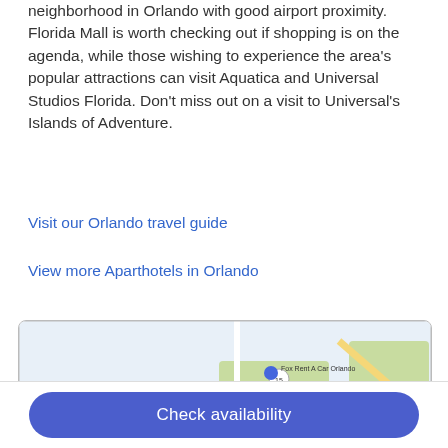neighborhood in Orlando with good airport proximity. Florida Mall is worth checking out if shopping is on the agenda, while those wishing to experience the area's popular attractions can visit Aquatica and Universal Studios Florida. Don't miss out on a visit to Universal's Islands of Adventure.
Visit our Orlando travel guide
View more Aparthotels in Orlando
[Figure (map): Google Maps screenshot showing the Airport North neighborhood in Orlando, Florida. Visible landmarks include Fox Rent A Car Orlando, Walmart Supercenter, Belle Isle, RedCoach Luxury Transportation, Airport Lakes Park, HGreg.com Orlando, Off-Lease Only Orlando, Kohl's, and a hotel pin marker in the AIRPORT NORTH area. Roads shown include S Conway Rd, Judge Rd, and route markers 15, 16, 528.]
Check availability